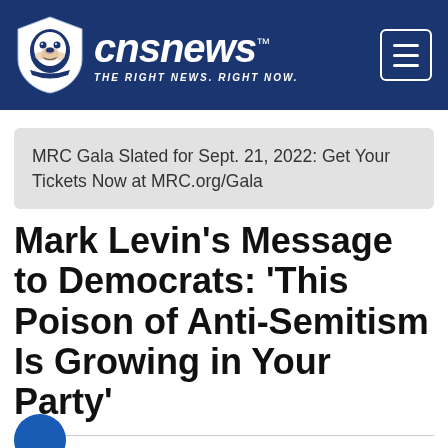CNSNews - THE RIGHT NEWS. RIGHT NOW.
MRC Gala Slated for Sept. 21, 2022: Get Your Tickets Now at MRC.org/Gala
Mark Levin's Message to Democrats: 'This Poison of Anti-Semitism Is Growing in Your Party'
By Susan Jones | May 26, 2021 | 7:41am EDT